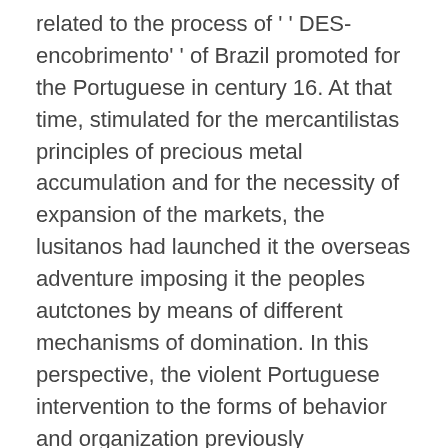related to the process of '' DES-encobrimento'' of Brazil promoted for the Portuguese in century 16. At that time, stimulated for the mercantilistas principles of precious metal accumulation and for the necessity of expansion of the markets, the lusitanos had launched it the overseas adventure imposing it the peoples autctones by means of different mechanisms of domination. In this perspective, the violent Portuguese intervention to the forms of behavior and organization previously established by '' donos'' of lands just-discoveries – the Brazilian indians – it could not only be justified by the mercantilista optics. It is instituted, in this context, a justification that if it coats with humanitarian and heroic concepts, in which a society hierarchically more structuralized and instructed, guided '' salvar'' the too much